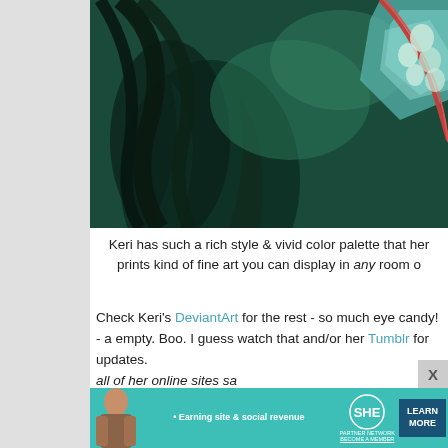[Figure (illustration): Digital illustration with dark teal/green tones showing a fantasy character with flowing dark hair and colorful geometric elements, cropped at top of page]
Keri has such a rich style & vivid color palette that her prints kind of fine art you can display in any room o
Check Keri's DeviantArt for the rest - so much eye candy! - a empty. Boo. I guess watch that and/or her Tumblr for updates. all of her online sites sa
Caralyn of Mystic Reflections o
[Figure (photo): Partial photo showing what appears to be artwork or print displayed on a surface, light grey tones with a circular pinkish element visible]
[Figure (infographic): SHE Partner Network advertisement banner with teal background, woman photo, earn social revenue text, SHE logo, and Learn More button]